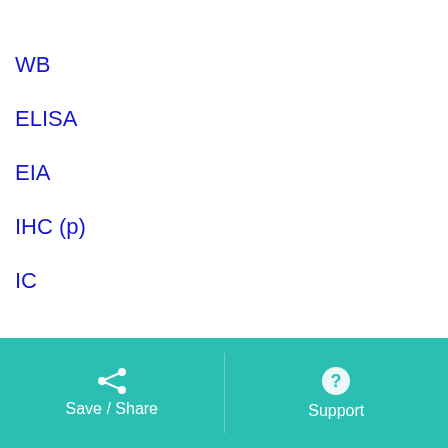WB
ELISA
EIA
IHC (p)
IC
ICC
IF
SLC35D1 Antibodies by Host
Save / Share   Support